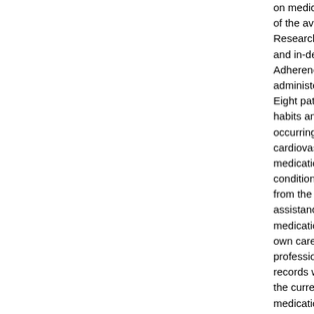on medication adherence in veterans with multiple chronic conditions of the available medication a... Research methods in this stu... and in-depth interviews. The Adherence-Starts-with Know... administered to 16 patients. Eight patients were interview... habits and results of the ASK... occurring psychiatric illness... cardiovascular, pulmonary, h... medication adherence rates conditions. Of the eight pati... from the Veteran's Administ... assistance; an impact on hea... medication adherence rates own care, concerned about t... professional. The limitations records were not complete a... the current month was challe... medication adherence questi... population, and will be inves...
Recommended Citation
Moghe, Rohit A., "Barriers to M... (2010). Master of Public Health... https://jdc.jefferson.edu/mph...